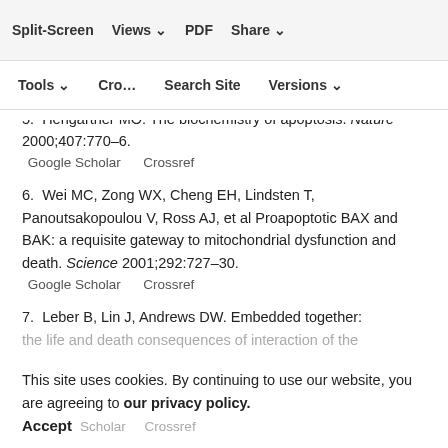4. Adams JM, Cory S. The Bcl-2 apoptotic switch in cancer development and therapy. Oncogene 2007;26:1324–37.
5. Hengartner MO. The biochemistry of apoptosis. Nature 2000;407:770–6.
6. Wei MC, Zong WX, Cheng EH, Lindsten T, Panoutsakopoulou V, Ross AJ, et al Proapoptotic BAX and BAK: a requisite gateway to mitochondrial dysfunction and death. Science 2001;292:727–30.
7. Leber B, Lin J, Andrews DW. Embedded together: the life and death consequences of interaction of the Bcl-2 family with membranes. Apoptosis 2007;12:897–...
This site uses cookies. By continuing to use our website, you are agreeing to our privacy policy. Accept